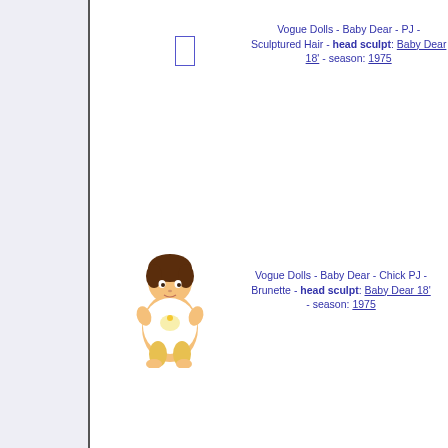[Figure (other): Empty image placeholder box for Baby Dear PJ Sculptured Hair doll]
Vogue Dolls - Baby Dear - PJ - Sculptured Hair - head sculpt: Baby Dear 18' - season: 1975
[Figure (photo): Photo of Baby Dear Chick PJ Brunette doll - infant doll with brown hair, wearing white dress with chick print and yellow pants, sitting pose]
Vogue Dolls - Baby Dear - Chick PJ - Brunette - head sculpt: Baby Dear 18' - season: 1975